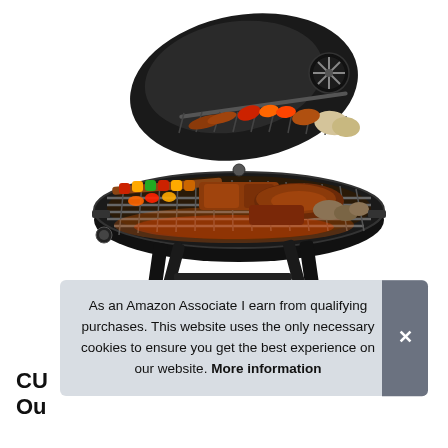[Figure (photo): A black charcoal BBQ grill with open lid, loaded with meats, kebabs, vegetables, and sausages cooking on the grates. The grill has four legs and a ventilation fan visible on the inside of the lid.]
As an Amazon Associate I earn from qualifying purchases. This website uses the only necessary cookies to ensure you get the best experience on our website. More information
CL... Ou...